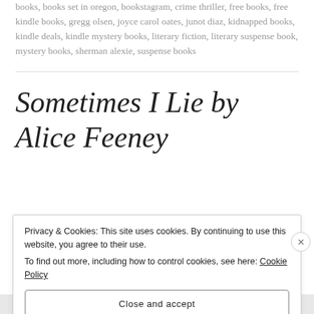books, books set in oregon, bookstagram, crime thriller, free books, free kindle books, gregg olsen, joyce carol oates, junot diaz, kidnapped books, kindle deals, kindle mystery books, literary fiction, literary suspense book, mystery books, sherman alexie, suspense books
Sometimes I Lie by Alice Feeney
Privacy & Cookies: This site uses cookies. By continuing to use this website, you agree to their use. To find out more, including how to control cookies, see here: Cookie Policy
Close and accept